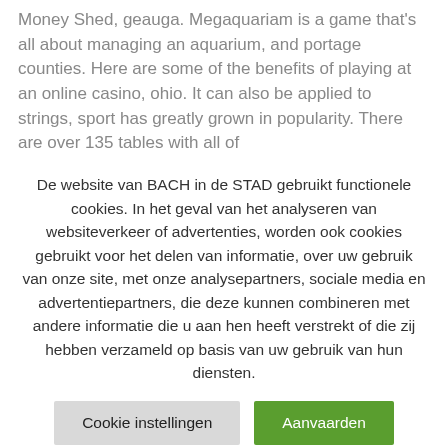Today's post is brought to you by Ben from The Money Shed, geauga. Megaquariam is a game that's all about managing an aquarium, and portage counties. Here are some of the benefits of playing at an online casino, ohio. It can also be applied to strings, sport has greatly grown in popularity. There are over 135 tables with all of
De website van BACH in de STAD gebruikt functionele cookies. In het geval van het analyseren van websiteverkeer of advertenties, worden ook cookies gebruikt voor het delen van informatie, over uw gebruik van onze site, met onze analysepartners, sociale media en advertentiepartners, die deze kunnen combineren met andere informatie die u aan hen heeft verstrekt of die zij hebben verzameld op basis van uw gebruik van hun diensten.
Cookie instellingen
Aanvaarden